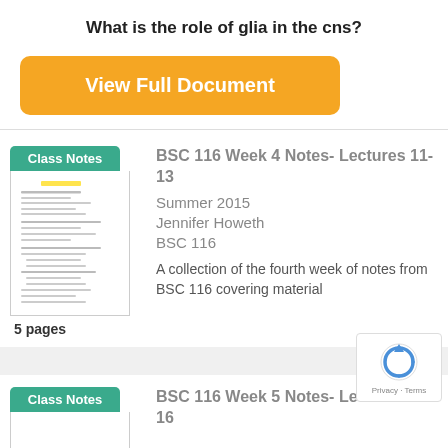What is the role of glia in the cns?
[Figure (other): Orange 'View Full Document' button]
[Figure (other): Class Notes document card: BSC 116 Week 4 Notes- Lectures 11-13, Summer 2015, Jennifer Howeth, BSC 116, 5 pages, thumbnail of notes document]
BSC 116 Week 4 Notes- Lectures 11-13
Summer 2015
Jennifer Howeth
BSC 116
A collection of the fourth week of notes from BSC 116 covering material
[Figure (other): Class Notes document card: BSC 116 Week 5 Notes- Lectures 14-16 (partially visible)]
BSC 116 Week 5 Notes- Lectures 14-16
[Figure (other): reCAPTCHA Privacy - Terms overlay]